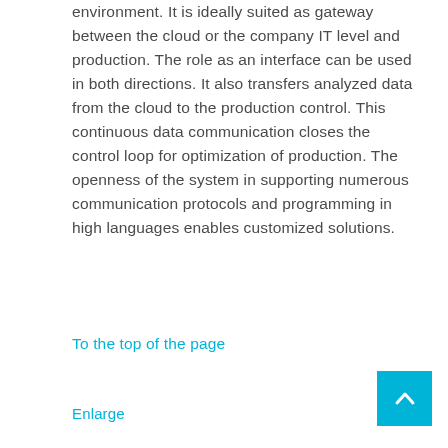environment. It is ideally suited as gateway between the cloud or the company IT level and production. The role as an interface can be used in both directions. It also transfers analyzed data from the cloud to the production control. This continuous data communication closes the control loop for optimization of production. The openness of the system in supporting numerous communication protocols and programming in high languages enables customized solutions.
To the top of the page
Enlarge